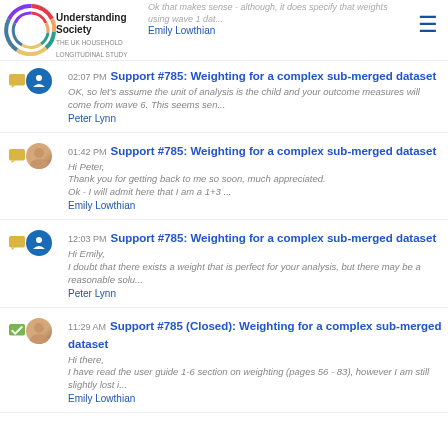[Figure (logo): Understanding Society logo with coloured circle and text]
Ok that makes sense - although, it does specify that weights using wave 1 dat...
Emily Lowthian
02:07 PM Support #785: Weighting for a complex sub-merged dataset
OK, so let's assume the unit of analysis is the child and your outcome measures will come from wave 6. This seems sen...
Peter Lynn
01:42 PM Support #785: Weighting for a complex sub-merged dataset
Hi Peter,
Thank you for getting back to me so soon, much appreciated.
Ok - I will admit here that I am a 1+3 ...
Emily Lowthian
12:03 PM Support #785: Weighting for a complex sub-merged dataset
Hi Emily,
I doubt that there exists a weight that is perfect for your analysis, but there may be a reasonable solu...
Peter Lynn
11:29 AM Support #785 (Closed): Weighting for a complex sub-merged dataset
Hi there,
I have read the user guide 1-6 section on weighting (pages 56 - 83), however I am still slightly lost i...
Emily Lowthian